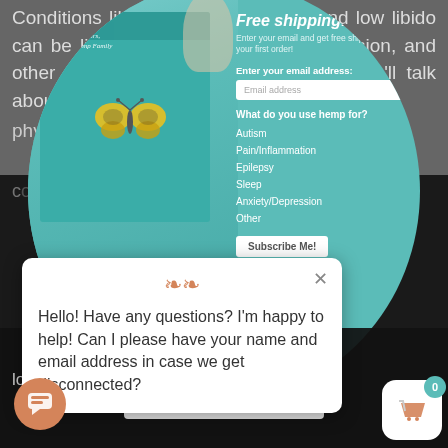Conditions like erectile dysfunction and low libido can be linked to stress, anxiety, depression, and other mental health conditions– which we'll talk about more linked to phy...
[Figure (screenshot): A teal circular modal popup showing a gift box with a butterfly decoration on the left, and a free shipping email signup form on the right. The form includes fields for email address and checkboxes for hemp use cases: Autism, Pain/Inflammation, Epilepsy, Sleep, Anxiety/Depression, Other, with a Subscribe Me button.]
[Figure (screenshot): A white chat popup box with an orange decorative logo, an X close button, and the text: Hello! Have any questions? I'm happy to help! Can I please have your name and email address in case we get disconnected?]
success w... to browse the site, you are agreeing to our use of cookies.
[Figure (screenshot): Cookie consent bar at the bottom with Accept settings button, a chat icon (orange circle with chat bubbles), and a cart icon (white rounded square with basket, showing badge 0).]